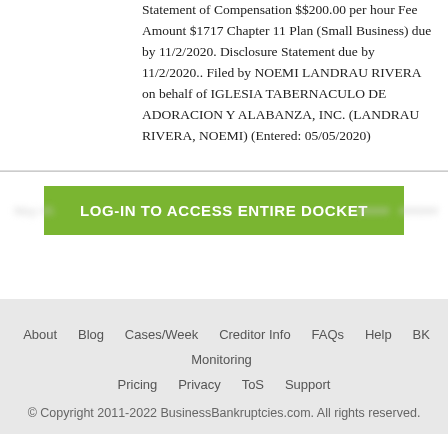Statement of Compensation $$200.00 per hour Fee Amount $1717 Chapter 11 Plan (Small Business) due by 11/2/2020. Disclosure Statement due by 11/2/2020.. Filed by NOEMI LANDRAU RIVERA on behalf of IGLESIA TABERNACULO DE ADORACION Y ALABANZA, INC. (LANDRAU RIVERA, NOEMI) (Entered: 05/05/2020)
[Figure (screenshot): Green button labeled 'LOG-IN TO ACCESS ENTIRE DOCKET' with blurred/greyed-out row content on either side]
About | Blog | Cases/Week | Creditor Info | FAQs | Help | BK Monitoring | Pricing | Privacy | ToS | Support | © Copyright 2011-2022 BusinessBankruptcies.com. All rights reserved.